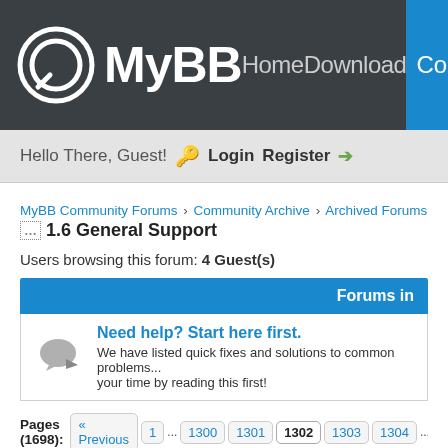MyBB Home Download Community Extend Do...
Hello There, Guest! 🔑 Login Register →
MyBB Community Forums › Community Archive › Archived Forums › Archiv...
1.6 General Support
Users browsing this forum: 4 Guest(s)
Forums in
Need help? Start here first. We have listed quick fixes and solutions to common problems... your time by reading this first!
Pages (1698): « Previous  1  ...  1300  1301  1302  1303  1304  ...  16...
1.6 General Support
Thread / Author